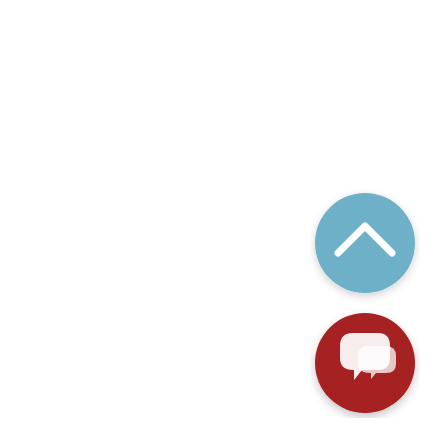[Figure (illustration): Two circular UI buttons in the bottom-right area. The top button is a light blue circle with a white upward-pointing chevron arrow icon. The bottom button is a dark red/crimson circle with a white speech-bubble/chat icon (two overlapping speech bubbles). Both buttons have subtle drop shadows.]